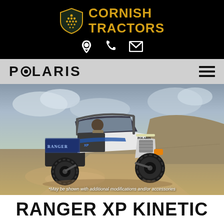[Figure (logo): Cornish Tractors logo with shield emblem and brand name in gold on black background, with location, phone, and email icons below]
[Figure (logo): Polaris brand navigation bar on grey background with hamburger menu icon]
[Figure (photo): Polaris Ranger XP Kinetic UTV vehicle being driven on a dirt road with a driver inside, dusty outdoor terrain background. Caption reads: *May be shown with additional modifications and/or accessories]
RANGER XP KINETIC